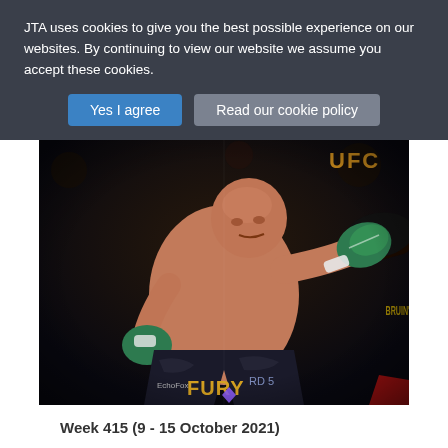JTA uses cookies to give you the best possible experience on our websites. By continuing to view our website we assume you accept these cookies.
Yes I agree
Read our cookie policy
[Figure (photo): Boxer Tyson Fury in action during a fight, wearing shorts with 'FURY' written on them and EthereumMax sponsorship, throwing a punch. UFC branding visible in background.]
Week 415 (9 - 15 October 2021)